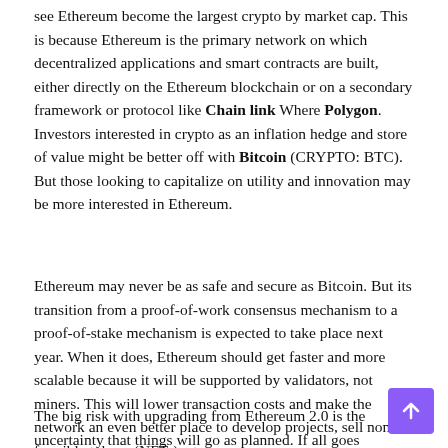see Ethereum become the largest crypto by market cap. This is because Ethereum is the primary network on which decentralized applications and smart contracts are built, either directly on the Ethereum blockchain or on a secondary framework or protocol like Chain link Where Polygon. Investors interested in crypto as an inflation hedge and store of value might be better off with Bitcoin (CRYPTO: BTC). But those looking to capitalize on utility and innovation may be more interested in Ethereum.
Ethereum may never be as safe and secure as Bitcoin. But its transition from a proof-of-work consensus mechanism to a proof-of-stake mechanism is expected to take place next year. When it does, Ethereum should get faster and more scalable because it will be supported by validators, not miners. This will lower transaction costs and make the network an even better place to develop projects, sell non-fungible tokens (NFTs), etc.
The big risk with upgrading from Ethereum 2.0 is the uncertainty that things will go as planned. If all goes well...